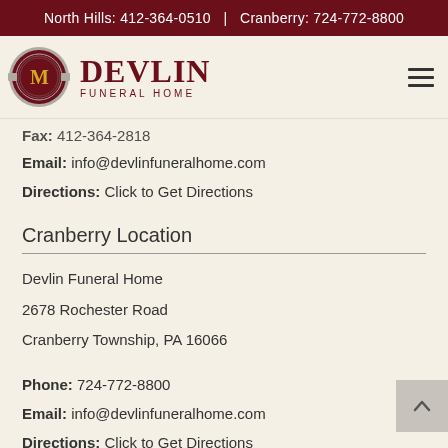North Hills: 412-364-0510  |  Cranberry: 724-772-8800
[Figure (logo): Devlin Funeral Home logo with circular emblem and text]
Fax: 412-364-2818
Email: info@devlinfuneralhome.com
Directions: Click to Get Directions
Cranberry Location
Devlin Funeral Home
2678 Rochester Road
Cranberry Township, PA 16066
Phone: 724-772-8800
Email: info@devlinfuneralhome.com
Directions: Click to Get Directions